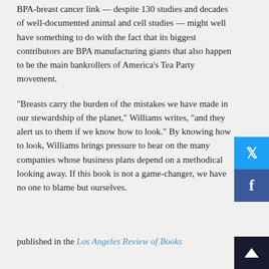BPA-breast cancer link — despite 130 studies and decades of well-documented animal and cell studies — might well have something to do with the fact that its biggest contributors are BPA manufacturing giants that also happen to be the main bankrollers of America's Tea Party movement.
"Breasts carry the burden of the mistakes we have made in our stewardship of the planet," Williams writes, "and they alert us to them if we know how to look." By knowing how to look, Williams brings pressure to bear on the many companies whose business plans depend on a methodical looking away. If this book is not a game-changer, we have no one to blame but ourselves.
published in the Los Angeles Review of Books